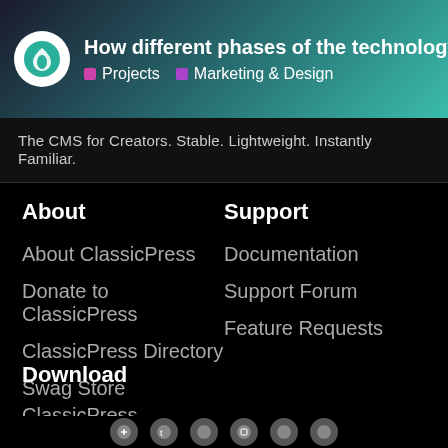How different phases of the technology adoptio... | Projects | Marketing & Design
The CMS for Creators. Stable. Lightweight. Instantly Familiar.
About
About ClassicPress
Donate to ClassicPress
ClassicPress Directory
Swag Store
Support
Documentation
Support Forum
Feature Requests
Download
ClassicPress
Migration Plugin